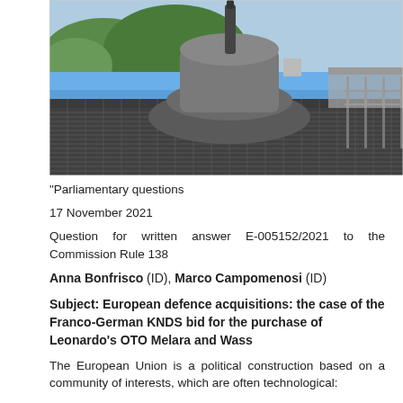[Figure (photo): Naval vessel deck with a large gun turret/weapon system mounted on it, ocean and hills visible in background]
"Parliamentary questions
17 November 2021
Question for written answer E-005152/2021 to the Commission Rule 138
Anna Bonfrisco (ID), Marco Campomenosi (ID)
Subject: European defence acquisitions: the case of the Franco-German KNDS bid for the purchase of Leonardo's OTO Melara and Wass
The European Union is a political construction based on a community of interests, which are often technological: